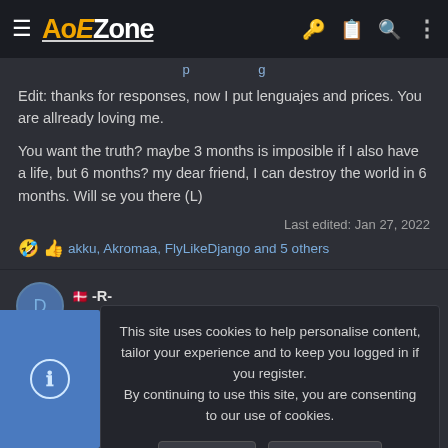AoEZone
Edit: thanks for responses, now I put lenguajes and prices. You are allready loving me.

You want the truth? maybe 3 months is imposible if I also have a life, but 6 months? my dear friend, I can destroy the world in 6 months. Will se you there (L)
Last edited: Jan 27, 2022
🤣👍 akku, Akromaa, FlyLikeDjango and 5 others
-R-
This site uses cookies to help personalise content, tailor your experience and to keep you logged in if you register.
By continuing to use this site, you are consenting to our use of cookies.